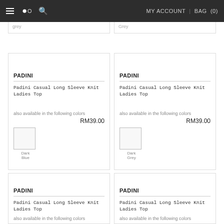MY ACCOUNT | BAG (0)
Grey
Grey
PADINI
Padini Casual Long Sleeve Knit Ladies Top
also available in the following colors
RM39.00
Dark Blue
PADINI
Padini Casual Long Sleeve Knit Ladies Top
also available in the following colors
RM39.00
Dark Grey
PADINI
Padini Casual Long Sleeve Knit Ladies Top
also available in the following colors
PADINI
Padini Casual Long Sleeve Knit Ladies Top
also available in the following colors